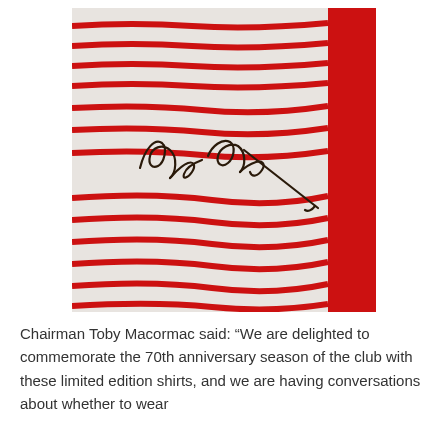[Figure (photo): Close-up photo of a red and white striped football shirt with a handwritten signature (autograph) in dark pen across the fabric.]
Chairman Toby Macormac said: “We are delighted to commemorate the 70th anniversary season of the club with these limited edition shirts, and we are having conversations about whether to wear